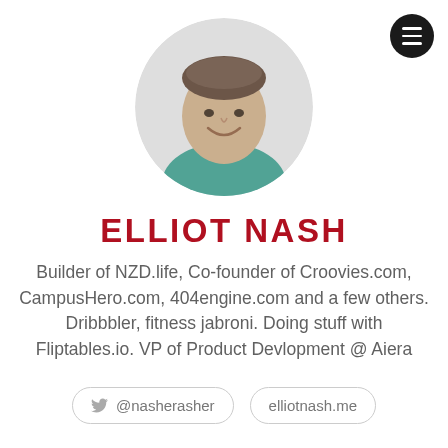[Figure (photo): Circular profile photo of Elliot Nash, a young man smiling, wearing a teal/green shirt, photographed indoors]
ELLIOT NASH
Builder of NZD.life, Co-founder of Croovies.com, CampusHero.com, 404engine.com and a few others. Dribbbler, fitness jabroni. Doing stuff with Fliptables.io. VP of Product Devlopment @ Aiera
@nasherasher
elliotnash.me